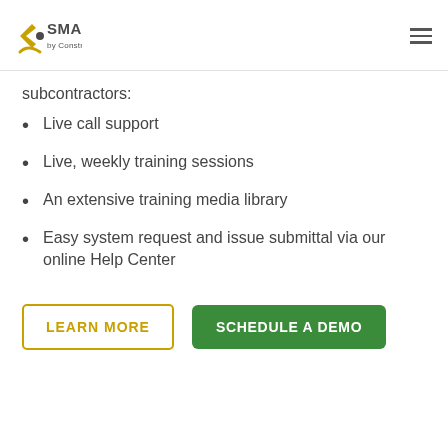SMARTBID by ConstructConnect
subcontractors:
Live call support
Live, weekly training sessions
An extensive training media library
Easy system request and issue submittal via our online Help Center
LEARN MORE
SCHEDULE A DEMO